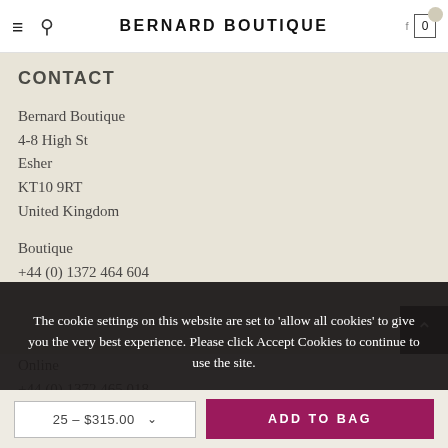BERNARD BOUTIQUE
CONTACT
Bernard Boutique
4-8 High St
Esher
KT10 9RT
United Kingdom
Boutique
+44 (0) 1372 464 604
Online
+44 (0) 1372 465 018
The cookie settings on this website are set to 'allow all cookies' to give you the very best experience. Please click Accept Cookies to continue to use the site.
PRIVACY POLICY   ACCEPT ✔
25 - $315.00   ADD TO BAG